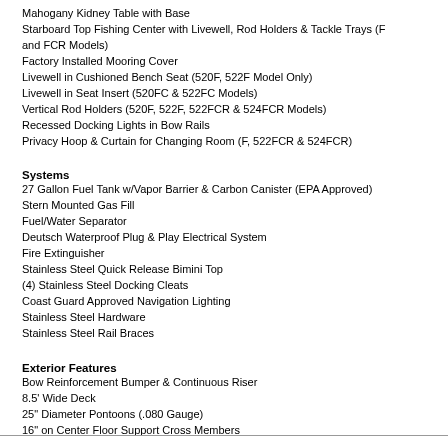Mahogany Kidney Table with Base
Starboard Top Fishing Center with Livewell, Rod Holders & Tackle Trays (F and FCR Models)
Factory Installed Mooring Cover
Livewell in Cushioned Bench Seat (520F, 522F Model Only)
Livewell in Seat Insert (520FC & 522FC Models)
Vertical Rod Holders (520F, 522F, 522FCR & 524FCR Models)
Recessed Docking Lights in Bow Rails
Privacy Hoop & Curtain for Changing Room (F, 522FCR & 524FCR)
Systems
27 Gallon Fuel Tank w/Vapor Barrier & Carbon Canister (EPA Approved)
Stern Mounted Gas Fill
Fuel/Water Separator
Deutsch Waterproof Plug & Play Electrical System
Fire Extinguisher
Stainless Steel Quick Release Bimini Top
(4) Stainless Steel Docking Cleats
Coast Guard Approved Navigation Lighting
Stainless Steel Hardware
Stainless Steel Rail Braces
Exterior Features
Bow Reinforcement Bumper & Continuous Riser
8.5' Wide Deck
25" Diameter Pontoons (.080 Gauge)
16" on Center Floor Support Cross Members